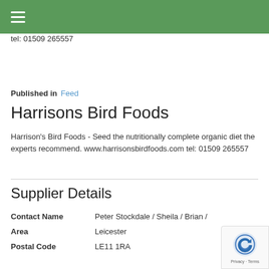≡
tel: 01509 265557
Published in  Feed
Harrisons Bird Foods
Harrison's Bird Foods - Seed the nutritionally complete organic diet the experts recommend. www.harrisonsbirdfoods.com tel: 01509 265557
Supplier Details
| Contact Name | Peter Stockdale / Sheila / Brian / |
| Area | Leicester |
| Postal Code | LE11 1RA |